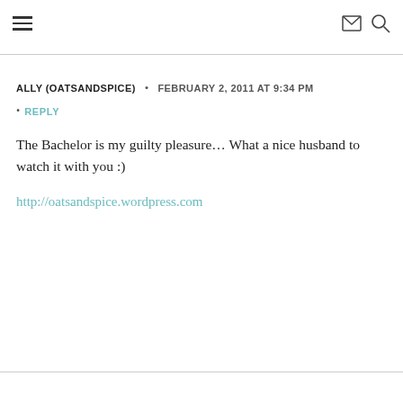≡  ✉  🔍
ALLY (OATSANDSPICE)  •  FEBRUARY 2, 2011 AT 9:34 PM
• REPLY
The Bachelor is my guilty pleasure… What a nice husband to watch it with you :)
http://oatsandspice.wordpress.com